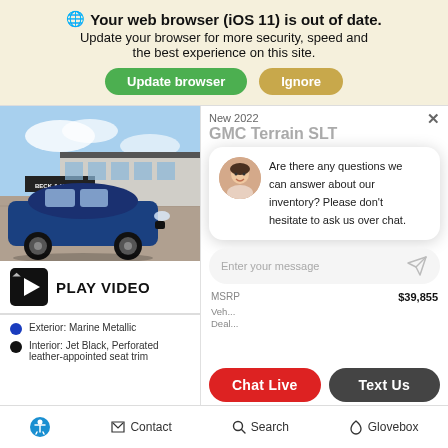Your web browser (iOS 11) is out of date.
Update your browser for more security, speed and the best experience on this site.
Update browser | Ignore
[Figure (photo): Blue GMC Terrain SUV parked in front of Beck & Masten dealership]
PLAY VIDEO
Exterior: Marine Metallic
Interior: Jet Black, Perforated leather-appointed seat trim
New 2022
GMC Terrain SLT
Are there any questions we can answer about our inventory? Please don't hesitate to ask us over chat.
Enter your message
MSRP $39,855
Chat Live | Text Us
Contact | Search | Glovebox